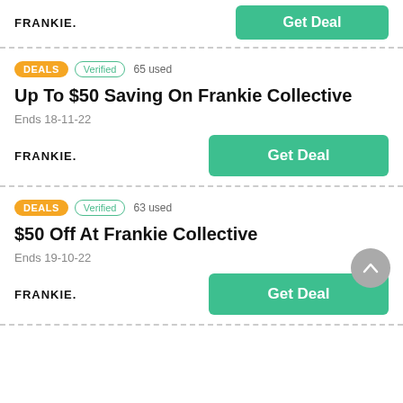FRANKIE.
Get Deal
DEALS  Verified  65 used
Up To $50 Saving On Frankie Collective
Ends 18-11-22
FRANKIE.
Get Deal
DEALS  Verified  63 used
$50 Off At Frankie Collective
Ends 19-10-22
FRANKIE.
Get Deal